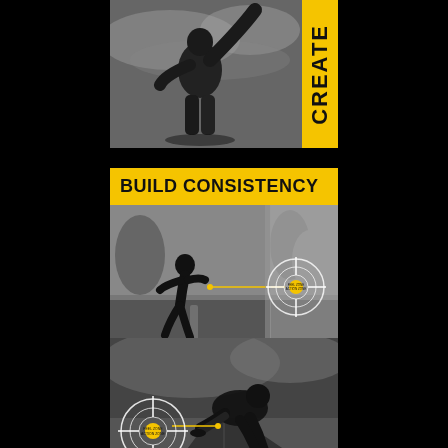[Figure (photo): Black and white photo of an athlete (upper body, appears to be boxing or training) with a yellow vertical 'CREATE' badge on the right side]
[Figure (photo): Yellow banner reading 'BUILD CONSISTENCY' above a black and white photo of a sprinter running toward camera, with crosshair target graphic and yellow connecting line overlay on the right side]
[Figure (photo): Black and white photo of an athlete in a starting position on a road/track under dramatic clouds, with crosshair target graphic and yellow line overlay on the left side, partially visible yellow 'FEEL CONFIDENCE' banner at bottom]